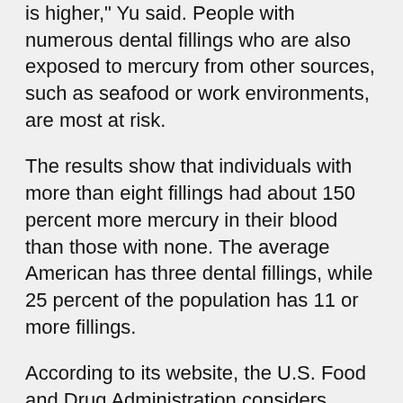is higher," Yu said. People with numerous dental fillings who are also exposed to mercury from other sources, such as seafood or work environments, are most at risk.
The results show that individuals with more than eight fillings had about 150 percent more mercury in their blood than those with none. The average American has three dental fillings, while 25 percent of the population has 11 or more fillings.
According to its website, the U.S. Food and Drug Administration considers dental amalgam fillings safe for adults, but says, “pregnant women and parents with children under six who are concerned about the absence of clinical data as to long-term health outcomes should talk to their